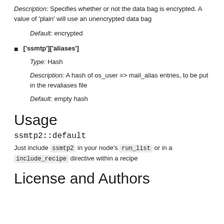Description: Specifies whether or not the data bag is encrypted. A value of 'plain' will use an unencrypted data bag
Default: encrypted
['ssmtp']['aliases']
Type: Hash
Description: A hash of os_user => mail_alias entries, to be put in the revaliases file
Default: empty hash
Usage
ssmtp2::default
Just include ssmtp2 in your node's run_list or in a include_recipe directive within a recipe
License and Authors